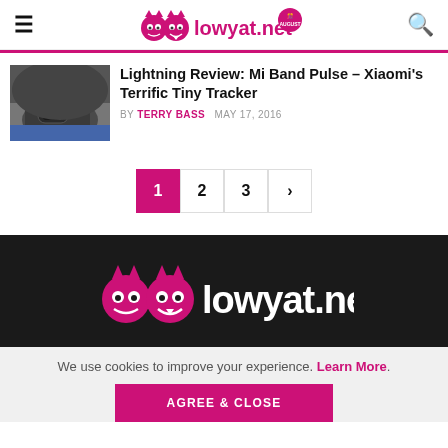lowyat.net
Lightning Review: Mi Band Pulse – Xiaomi's Terrific Tiny Tracker
BY TERRY BASS   MAY 17, 2016
1 2 3 >
[Figure (logo): lowyat.net logo with two devil mascot icons on dark background]
We use cookies to improve your experience. Learn More.
AGREE & CLOSE